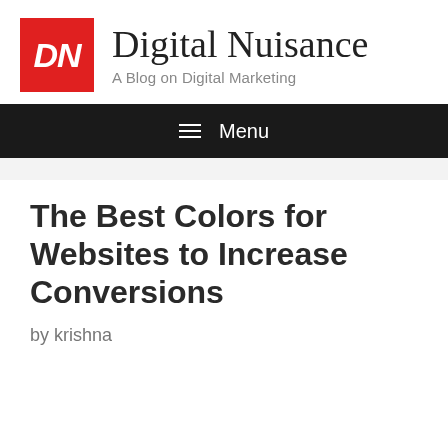DN Digital Nuisance — A Blog on Digital Marketing
The Best Colors for Websites to Increase Conversions
by krishna